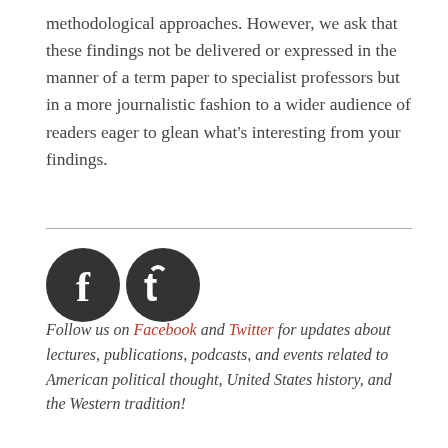methodological approaches. However, we ask that these findings not be delivered or expressed in the manner of a term paper to specialist professors but in a more journalistic fashion to a wider audience of readers eager to glean what's interesting from your findings.
[Figure (illustration): Facebook and Twitter social media icons as dark grey circles with white f and t logos respectively]
Follow us on Facebook and Twitter for updates about lectures, publications, podcasts, and events related to American political thought, United States history, and the Western tradition!